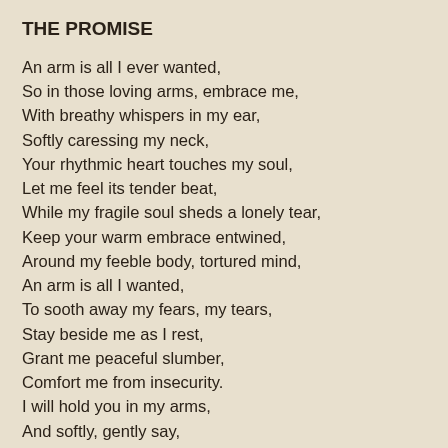THE PROMISE
An arm is all I ever wanted,
So in those loving arms, embrace me,
With breathy whispers in my ear,
Softly caressing my neck,
Your rhythmic heart touches my soul,
Let me feel its tender beat,
While my fragile soul sheds a lonely tear,
Keep your warm embrace entwined,
Around my feeble body, tortured mind,
An arm is all I wanted,
To sooth away my fears, my tears,
Stay beside me as I rest,
Grant me peaceful slumber,
Comfort me from insecurity.
I will hold you in my arms,
And softly, gently say,
You are mine,
And I am yours.
I will give you all you need,
And offer you more than you ask.